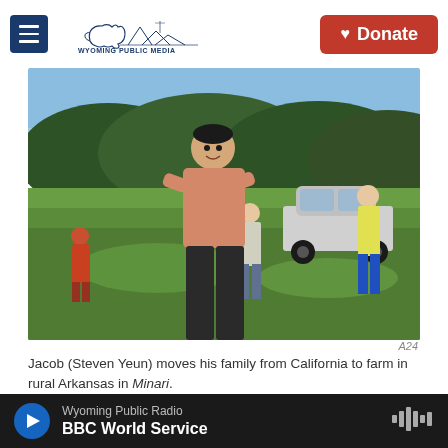Wyoming Public Media | Donate
[Figure (photo): Scene from the film Minari: Jacob (Steven Yeun) stands in a green field with hands on hips wearing a pink shirt, with children and a woman running behind him, and a white car in the background.]
A24
Jacob (Steven Yeun) moves his family from California to farm in rural Arkansas in Minari.
The history of film is inseparable from immigration.
Wyoming Public Radio | BBC World Service